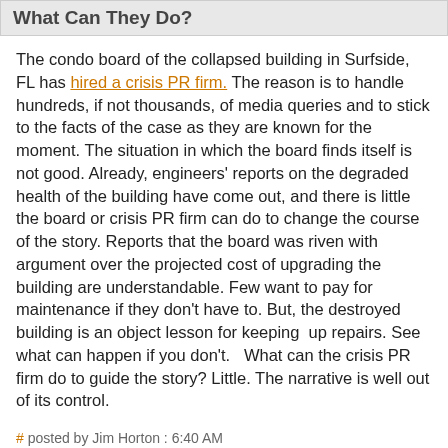What Can They Do?
The condo board of the collapsed building in Surfside, FL has hired a crisis PR firm.  The reason is to handle hundreds, if not thousands, of media queries and to stick to the facts of the case as they are known for the moment.  The situation in which the board finds itself is not good.  Already, engineers' reports on the degraded health of the building have come out, and there is little the board or crisis PR firm can do to change the course of the story.  Reports that the board was riven with argument over the projected cost of upgrading the building are understandable.  Few want to pay for maintenance if they don't have to.  But, the destroyed building is an object lesson for keeping  up repairs.  See what can happen if you don't.   What can the crisis PR firm do to guide the story?  Little.  The narrative is well out of its control.
# posted by Jim Horton : 6:40 AM
[Figure (logo): I Power Blogger badge with orange B icon]